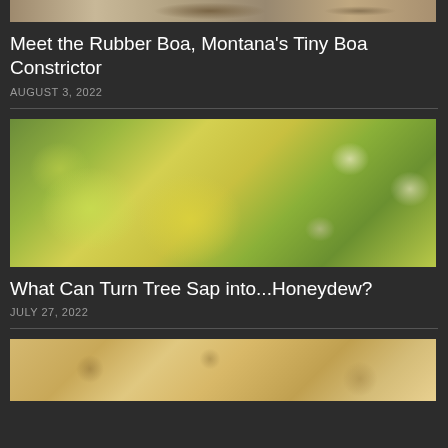[Figure (photo): Partial top view of a snake, brown/tan patterned scales, cropped at bottom]
Meet the Rubber Boa, Montana's Tiny Boa Constrictor
AUGUST 3, 2022
[Figure (photo): Close-up macro photo of yellow-green aphids on a green plant stem/leaf]
What Can Turn Tree Sap into...Honeydew?
JULY 27, 2022
[Figure (photo): Partial bottom image showing sandy/gravelly ground, tan and brown tones]